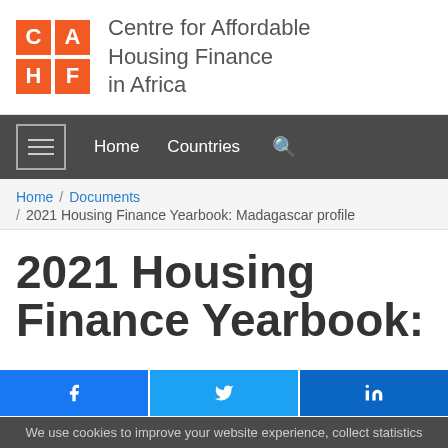[Figure (logo): CAHF logo: 2x2 orange grid with letters C, A, H, F followed by organisation name 'Centre for Affordable Housing Finance in Africa']
Home   Countries   Search
Home / Documents / 2021 Housing Finance Yearbook: Madagascar profile
2021 Housing Finance Yearbook:
We use cookies to improve your website experience, collect statistics